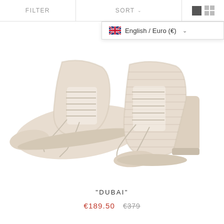FILTER   SORT   English / Euro (€)
[Figure (photo): Two pearl/ivory woven texture high-heel lace-up ankle boots ('Dubai') shown side by side against a white background. Block heels, pointed toes, lace-up front detail.]
"DUBAI"
€189.50  €379